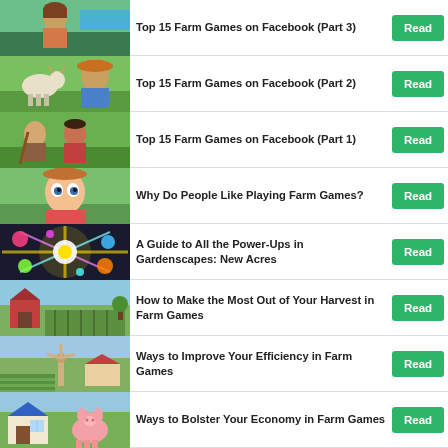Top 15 Farm Games on Facebook (Part 3)
Top 15 Farm Games on Facebook (Part 2)
Top 15 Farm Games on Facebook (Part 1)
Why Do People Like Playing Farm Games?
A Guide to All the Power-Ups in Gardenscapes: New Acres
How to Make the Most Out of Your Harvest in Farm Games
Ways to Improve Your Efficiency in Farm Games
Ways to Bolster Your Economy in Farm Games